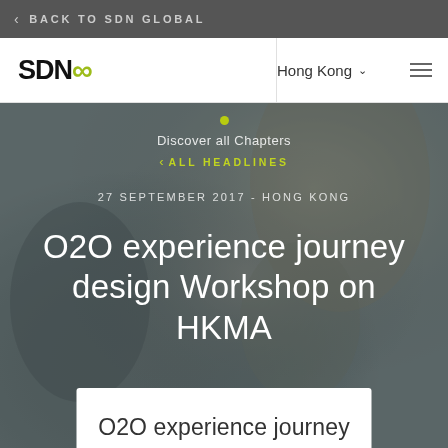BACK TO SDN GLOBAL
[Figure (logo): SDN infinity logo with green infinity symbol]
Hong Kong
Discover all Chapters
ALL HEADLINES
27 SEPTEMBER 2017 - HONG KONG
O2O experience journey design Workshop on HKMA
O2O experience journey